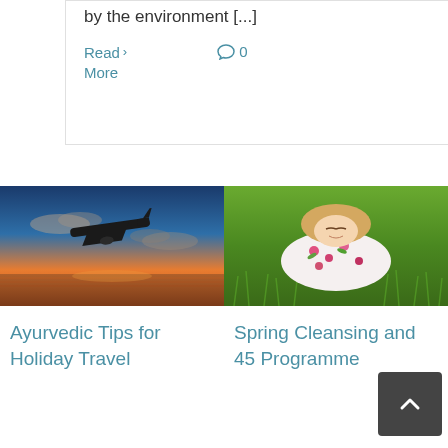by the environment [...]
Read More  0
[Figure (photo): Airplane flying at sunset over water with dramatic orange and blue sky]
Ayurvedic Tips for Holiday Travel
[Figure (photo): Young woman lying on green grass in a floral dress with eyes closed]
Spring Cleansing and 45 Programme